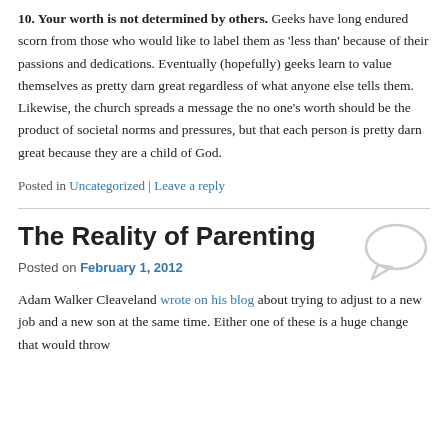10. Your worth is not determined by others. Geeks have long endured scorn from those who would like to label them as 'less than' because of their passions and dedications. Eventually (hopefully) geeks learn to value themselves as pretty darn great regardless of what anyone else tells them. Likewise, the church spreads a message the no one's worth should be the product of societal norms and pressures, but that each person is pretty darn great because they are a child of God.
Posted in Uncategorized | Leave a reply
The Reality of Parenting
Posted on February 1, 2012
Adam Walker Cleaveland wrote on his blog about trying to adjust to a new job and a new son at the same time. Either one of these is a huge change that would throw